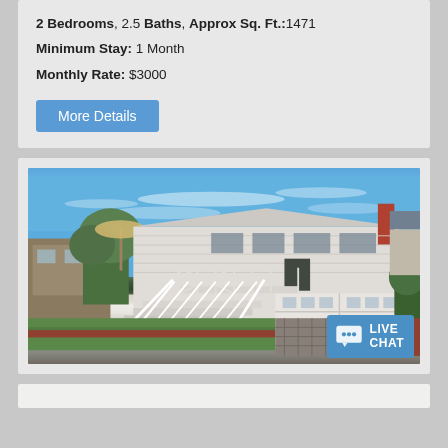2 Bedrooms, 2.5 Baths, Approx Sq. Ft.:1471
Minimum Stay: 1 Month
Monthly Rate: $3000
More Details
[Figure (photo): Exterior photo of a two-story white house with garage, staircase, green lawn, brick driveway, and blue sky]
LIVE CHAT